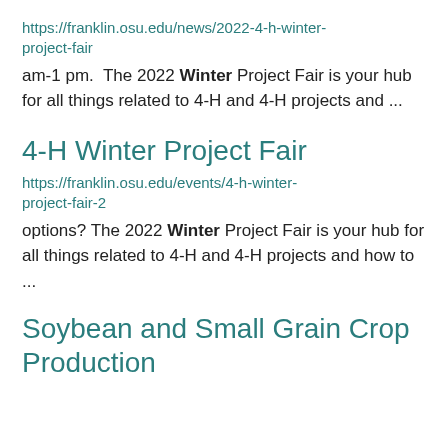https://franklin.osu.edu/news/2022-4-h-winter-project-fair
am-1 pm.  The 2022 Winter Project Fair is your hub for all things related to 4-H and 4-H projects and ...
4-H Winter Project Fair
https://franklin.osu.edu/events/4-h-winter-project-fair-2
options? The 2022 Winter Project Fair is your hub for all things related to 4-H and 4-H projects and how to ...
Soybean and Small Grain Crop Production